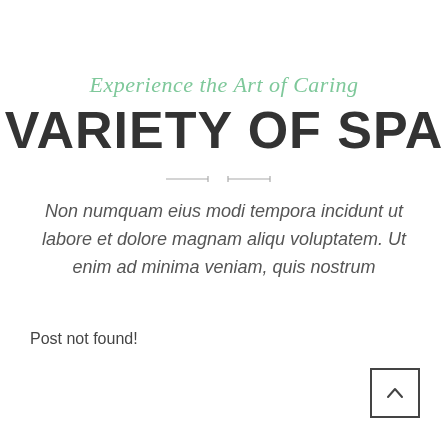Experience the Art of Caring
VARIETY OF SPA
Non numquam eius modi tempora incidunt ut labore et dolore magnam aliqu voluptatem. Ut enim ad minima veniam, quis nostrum
Post not found!